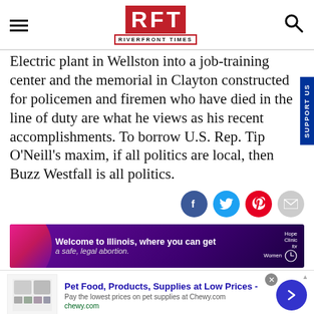RFT RIVERFRONT TIMES
Electric plant in Wellston into a job-training center and the memorial in Clayton constructed for policemen and firemen who have died in the line of duty are what he views as his recent accomplishments. To borrow U.S. Rep. Tip O'Neill's maxim, if all politics are local, then Buzz Westfall is all politics.
[Figure (other): Social sharing icons: Facebook (blue circle), Twitter (blue circle), Pinterest (red circle), Email (grey circle)]
[Figure (other): Advertisement banner: Welcome to Illinois, where you can get a safe, legal abortion. Hope Clinic for Women.]
[Figure (other): Advertisement bar: Pet Food, Products, Supplies at Low Prices - Pay the lowest prices on pet supplies at Chewy.com, chewy.com]